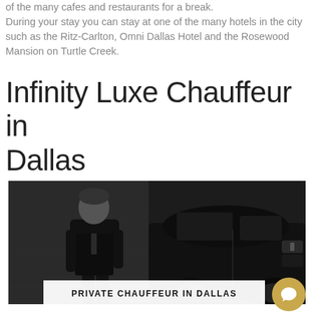of the many cafes and restaurants for a break. During your stay you can stay at one of the many hotels in the city such as the Ritz-Carlton, Omni Dallas Hotel and the Rosewood Mansion on Turtle Creek.
Infinity Luxe Chauffeur in Dallas
[Figure (photo): Black and white photo of a chauffeur in a dark suit standing beside a luxury black car, with a white overlay caption box reading PRIVATE CHAUFFEUR IN DALLAS]
PRIVATE CHAUFFEUR IN DALLAS